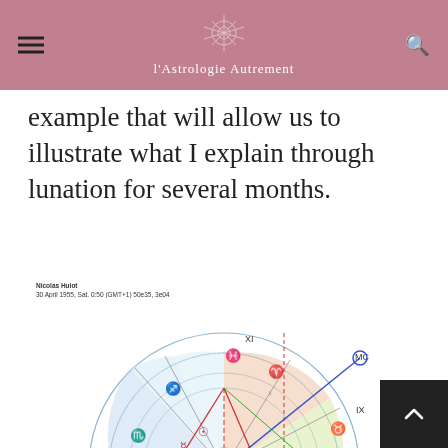l'Astrologie Autrement
example that will allow us to illustrate what I explain through lunation for several months.
Nicolas Hulot
30 April 1955, Sat. 0:50 (GMT+1) 50e35, 3e04
Lille, France
[Figure (other): Astrological natal chart wheel for Nicolas Hulot showing zodiac signs, planetary positions, aspect lines (red, green, blue), house cusps, and astrological symbols. The chart includes an outer ring with zodiac symbols, inner house divisions, and various planetary aspect lines.]